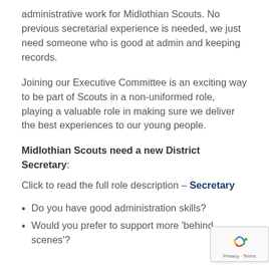administrative work for Midlothian Scouts. No previous secretarial experience is needed, we just need someone who is good at admin and keeping records.
Joining our Executive Committee is an exciting way to be part of Scouts in a non-uniformed role, playing a valuable role in making sure we deliver the best experiences to our young people.
Midlothian Scouts need a new District Secretary:
Click to read the full role description – Secretary
Do you have good administration skills?
Would you prefer to support more 'behind scenes'?